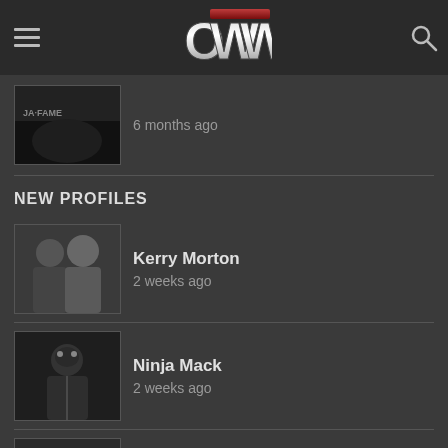OWW header with hamburger menu, OWW logo, and search icon
6 months ago
NEW PROFILES
Kerry Morton
2 weeks ago
Ninja Mack
2 weeks ago
Maxxine Dupri
1 month ago
Danni Bee
1 month ago